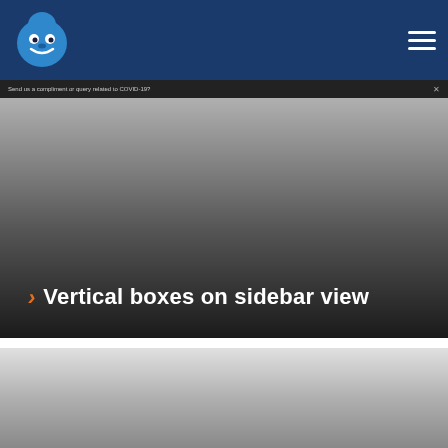[Figure (screenshot): Drupal CMS logo in navy navigation bar with hamburger menu icon on the right]
Send us a compliment or query related to COVID-19?
Vertical boxes on sidebar view
[Figure (screenshot): Second hero banner section with gray gradient background, partially visible]